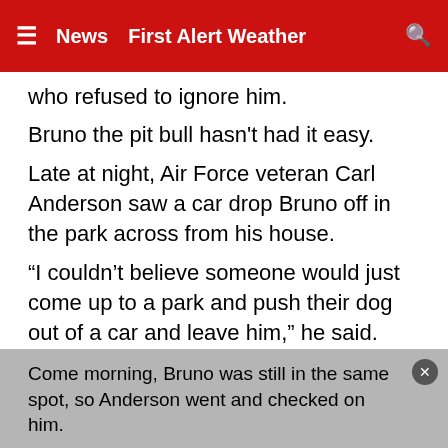≡  News  First Alert Weather  🔍
who refused to ignore him.
Bruno the pit bull hasn't had it easy.
Late at night, Air Force veteran Carl Anderson saw a car drop Bruno off in the park across from his house.
“I couldn’t believe someone would just come up to a park and push their dog out of a car and leave him,” he said.
ADVERTISEMENT
Come morning, Bruno was still in the same spot, so Anderson went and checked on him.